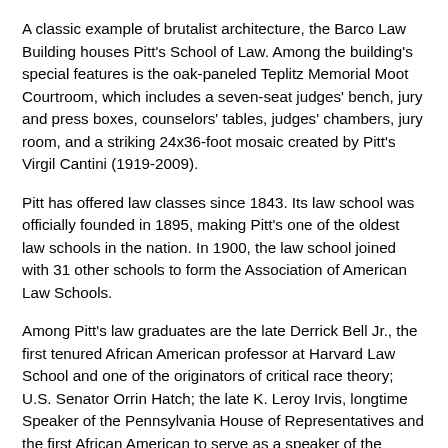A classic example of brutalist architecture, the Barco Law Building houses Pitt's School of Law. Among the building's special features is the oak-paneled Teplitz Memorial Moot Courtroom, which includes a seven-seat judges' bench, jury and press boxes, counselors' tables, judges' chambers, jury room, and a striking 24x36-foot mosaic created by Pitt's Virgil Cantini (1919-2009).
Pitt has offered law classes since 1843. Its law school was officially founded in 1895, making Pitt's one of the oldest law schools in the nation. In 1900, the law school joined with 31 other schools to form the Association of American Law Schools.
Among Pitt's law graduates are the late Derrick Bell Jr., the first tenured African American professor at Harvard Law School and one of the originators of critical race theory; U.S. Senator Orrin Hatch; the late K. Leroy Irvis, longtime Speaker of the Pennsylvania House of Representatives and the first African American to serve as a speaker of the house in any state legislature in the United States since Reconstruction;